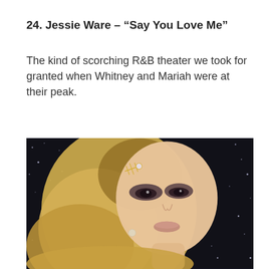24. Jessie Ware – “Say You Love Me”
The kind of scorching R&B theater we took for granted when Whitney and Mariah were at their peak.
[Figure (photo): Portrait photo of a blonde woman with dramatic smoky eye makeup and a jeweled hair accessory, against a dark sparkly background]